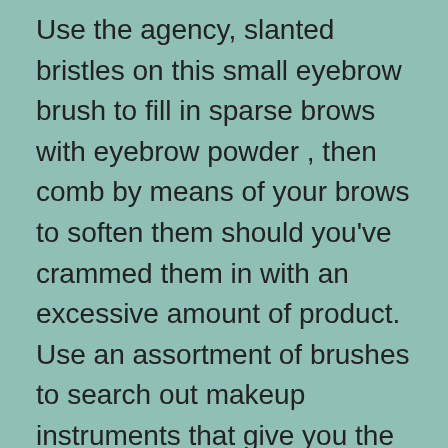Use the agency, slanted bristles on this small eyebrow brush to fill in sparse brows with eyebrow powder , then comb by means of your brows to soften them should you've crammed them in with an excessive amount of product. Use an assortment of brushes to search out makeup instruments that give you the results you want. You can take a look at make-up brushes with price options of all of your favorite products proper here at Myntra. They help make-up to mix into your skin better. Neiman Marcus provides a large collection of makeup brushes that can assist you apply makeup flawlessly. Composed of 12 brushes, it not